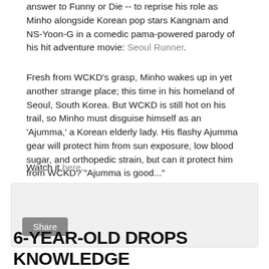answer to Funny or Die -- to reprise his role as Minho alongside Korean pop stars Kangnam and NS-Yoon-G in a comedic pama-powered parody of his hit adventure movie: Seoul Runner.
Fresh from WCKD's grasp, Minho wakes up in yet another strange place; this time in his homeland of Seoul, South Korea. But WCKD is still hot on his trail, so Minho must disguise himself as an 'Ajumma,' a Korean elderly lady. His flashy Ajumma gear will protect him from sun exposure, low blood sugar, and orthopedic strain, but can it protect him from WCKD? "Ajumma is good..."
Watch it here.
[Figure (other): Share button widget on a light gray background box]
6-YEAR-OLD DROPS KNOWLEDGE